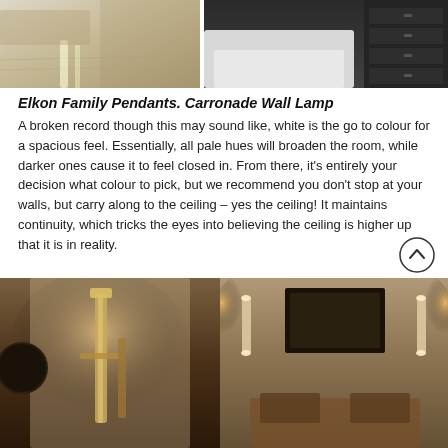[Figure (photo): Two interior photos side by side at top: left shows a bright room with bicycle/floor scene; right shows a dark bedroom with drawers.]
Elkon Family Pendants. Carronade Wall Lamp
A broken record though this may sound like, white is the go to colour for a spacious feel. Essentially, all pale hues will broaden the room, while darker ones cause it to feel closed in. From there, it's entirely your decision what colour to pick, but we recommend you don't stop at your walls, but carry along to the ceiling – yes the ceiling! It maintains continuity, which tricks the eyes into believing the ceiling is higher up that it is in reality.
[Figure (photo): Two interior lighting photos side by side at bottom: left shows a tall floor lamp in a warm-toned hallway; right shows wall sconces in a bedroom.]